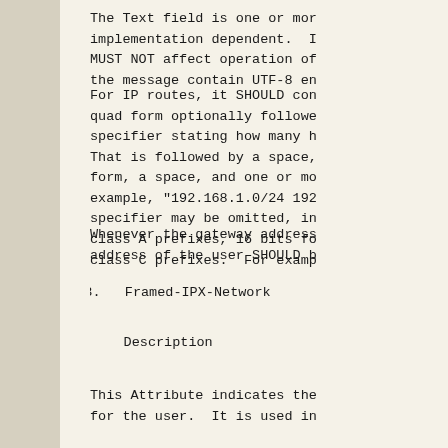The Text field is one or mor implementation dependent. I MUST NOT affect operation of the message contain UTF-8 en
For IP routes, it SHOULD con quad form optionally followe specifier stating how many h That is followed by a space, form, a space, and one or mo example, "192.168.1.0/24 192 specifier may be omitted, in class A prefixes, 16 bits fo class C prefixes.  For examp
Whenever the gateway address address of the user SHOULD b
5.23.   Framed-IPX-Network
Description
This Attribute indicates the for the user.  It is used in